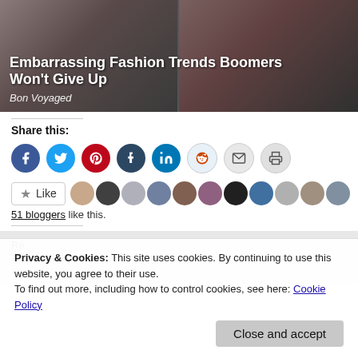[Figure (photo): Two women smiling, side by side, used as hero image for article]
Embarrassing Fashion Trends Boomers Won't Give Up
Bon Voyaged
Share this:
[Figure (infographic): Row of social sharing icons: Facebook, Twitter, Pinterest, Tumblr, LinkedIn, Reddit, Email, Print]
[Figure (infographic): Like button with star and 11 avatar thumbnails of bloggers]
51 bloggers like this.
Privacy & Cookies: This site uses cookies. By continuing to use this website, you agree to their use.
To find out more, including how to control cookies, see here: Cookie Policy
Close and accept